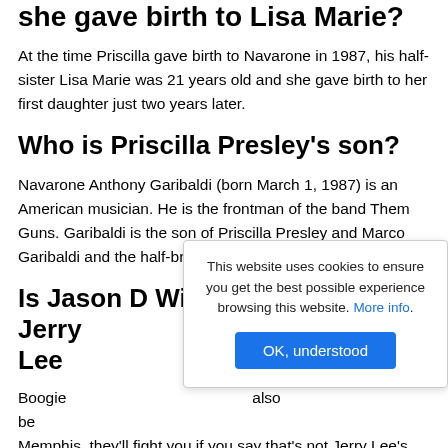she gave birth to Lisa Marie?
At the time Priscilla gave birth to Navarone in 1987, his half-sister Lisa Marie was 21 years old and she gave birth to her first daughter just two years later.
Who is Priscilla Presley's son?
Navarone Anthony Garibaldi (born March 1, 1987) is an American musician. He is the frontman of the band Them Guns. Garibaldi is the son of Priscilla Presley and Marco Garibaldi and the half-brother of Lisa Marie Presley.
Is Jason D Williams related to Jerry Lee
Boogie also be Memphis, they'll fight you if you say that's not Jerry Lee's
This website uses cookies to ensure you get the best possible experience browsing this website. More info.